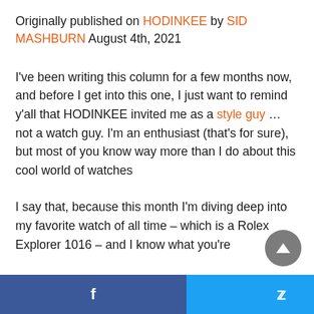Originally published on HODINKEE by SID MASHBURN August 4th, 2021
I've been writing this column for a few months now, and before I get into this one, I just want to remind y'all that HODINKEE invited me as a style guy … not a watch guy. I'm an enthusiast (that's for sure), but most of you know way more than I do about this cool world of watches
I say that, because this month I'm diving deep into my favorite watch of all time – which is a Rolex Explorer 1016 – and I know what you're